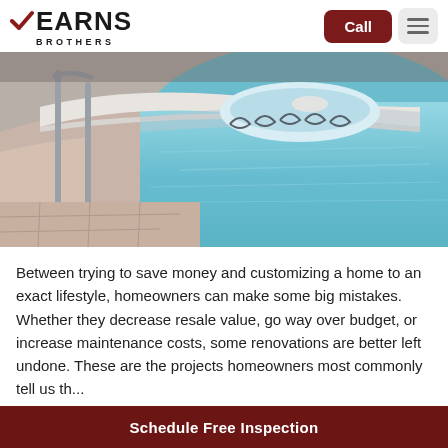Kearns Brothers
[Figure (photo): Outdoor swimming pool with metal handrail, decorative tile edging, and concrete pool deck surround, photographed at close range from deck level.]
Between trying to save money and customizing a home to an exact lifestyle, homeowners can make some big mistakes. Whether they decrease resale value, go way over budget, or increase maintenance costs, some renovations are better left undone. These are the projects homeowners most commonly tell us th...
Read More
Schedule Free Inspection